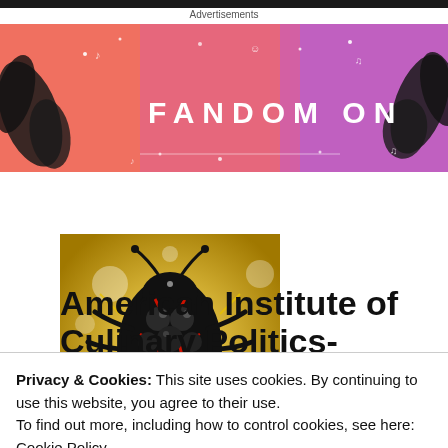Advertisements
[Figure (illustration): Tumblr fandom advertisement banner with colorful pink and purple gradient background featuring 'FANDOM ON tumblr' text and decorative elements]
[Figure (photo): Square image of a stylized black scarab beetle with red markings on a glowing golden yellow background with sparkle effects]
American Institute of Culinary Politics-Elemental News of
Privacy & Cookies: This site uses cookies. By continuing to use this website, you agree to their use.
To find out more, including how to control cookies, see here:
Cookie Policy
Close and accept